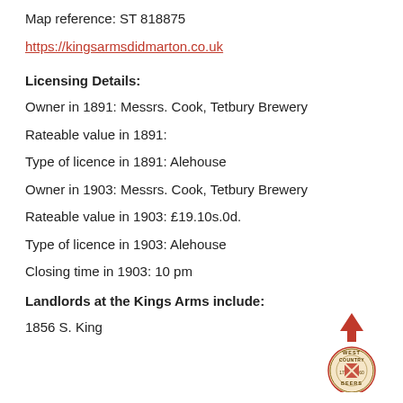Map reference: ST 818875
https://kingsarmsdidmarton.co.uk
Licensing Details:
Owner in 1891: Messrs. Cook, Tetbury Brewery
Rateable value in 1891:
Type of licence in 1891: Alehouse
Owner in 1903: Messrs. Cook, Tetbury Brewery
Rateable value in 1903: £19.10s.0d.
Type of licence in 1903: Alehouse
Closing time in 1903: 10 pm
Landlords at the Kings Arms include:
1856 S. King
[Figure (logo): West Country Beers circular logo with an upward red arrow above it]